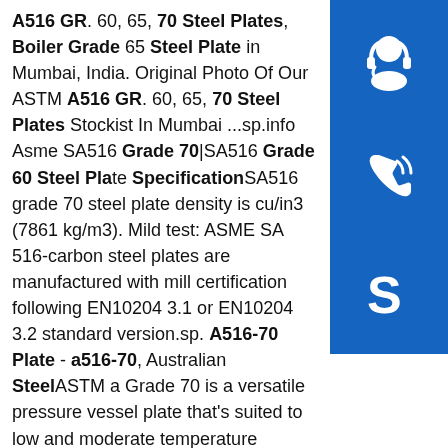A516 GR. 60, 65, 70 Steel Plates, Boiler Grade 65 Steel Plate in Mumbai, India. Original Photo Of Our ASTM A516 GR. 60, 65, 70 Steel Plates Stockist In Mumbai ...sp.info Asme SA516 Grade 70|SA516 Grade 60 Steel Plate SpecificationSA516 grade 70 steel plate density is cu/in3 (7861 kg/m3). Mild test: ASME SA 516-carbon steel plates are manufactured with mill certification following EN10204 3.1 or EN10204 3.2 standard version.sp. A516-70 Plate - a516-70, Australian SteelASTM a Grade 70 is a versatile pressure vessel plate that's suited to low and moderate temperature applications, making it an ideal material for industrial boilers and pressure vessels. This steel delivers reliable performance in low temperatures, offers good weldability, and boasts superb notch toughness, making it highly suitable for boiler fabrication.sp.info ASTM A516 Grade 70 Steel Plate :|: ASTM A516 Grade 70 ...ASTM A516-70 plate is a medium carbon alloy designed for use in pressure vessels and boilers. It contains manganese, phosphorus, sulfur and
[Figure (infographic): Three blue square buttons stacked vertically on the right side: headset/support icon, phone/call icon, Skype icon]